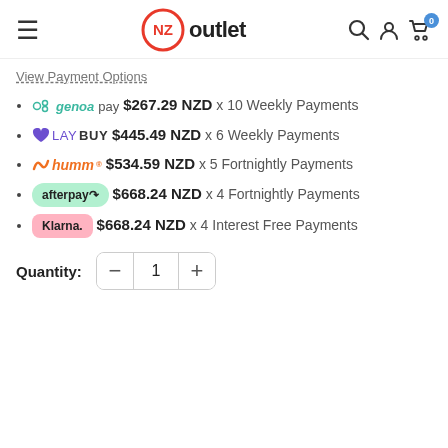[Figure (logo): NZ Outlet store logo with navigation header including hamburger menu, search, account, and cart icons]
View Payment Options
genoapay $267.29 NZD x 10 Weekly Payments
LAYBUY $445.49 NZD x 6 Weekly Payments
humm $534.59 NZD x 5 Fortnightly Payments
afterpay $668.24 NZD x 4 Fortnightly Payments
Klarna. $668.24 NZD x 4 Interest Free Payments
Quantity: 1